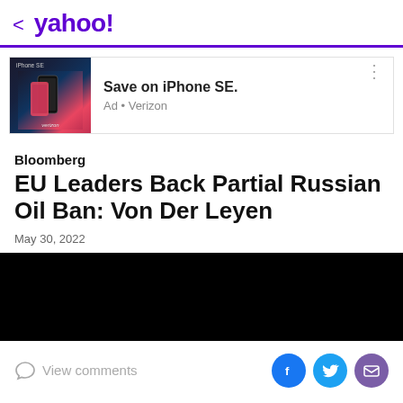< yahoo!
[Figure (screenshot): Advertisement banner: iPhone SE image on left with multicolor background and verizon logo, text 'Save on iPhone SE.' with 'Ad • Verizon' below]
Bloomberg
EU Leaders Back Partial Russian Oil Ban: Von Der Leyen
May 30, 2022
[Figure (photo): Black video/image block]
View comments